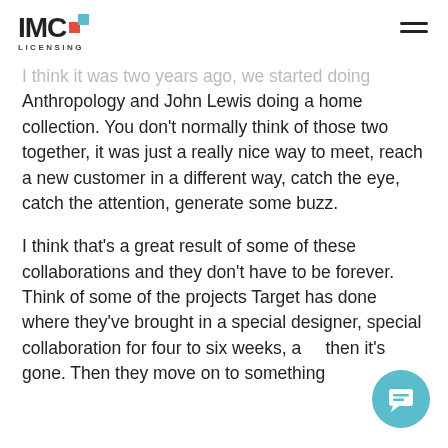IMC LICENSING
I think it was two years ago, we started doing Anthropology and John Lewis doing a home collection. You don't normally think of those two together, it was just a really nice way to meet, reach a new customer in a different way, catch the eye, catch the attention, generate some buzz.
I think that's a great result of some of these collaborations and they don't have to be forever. Think of some of the projects Target has done where they've brought in a special designer, special collaboration for four to six weeks, and then it's gone. Then they move on to something